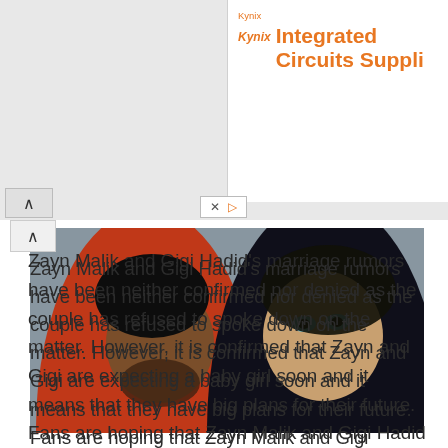[Figure (other): Kynix advertisement banner with orange logo and text 'Integrated Circuits Suppli...']
[Figure (photo): A man in a red hoodie and a woman with light eyes snuggled together under a gray blanket, appearing to be a celebrity couple photo]
Zayn Malik and Gigi Hadid's marriage rumors have been neither confirmed nor denied as the couple has refused to spoke down on the matter. However, it is confirmed that Zayn and Gigi are expecting a baby girl soon and it means that they have big plans for their future. Fans are hoping that Zayn Malik and Gigi Hadid